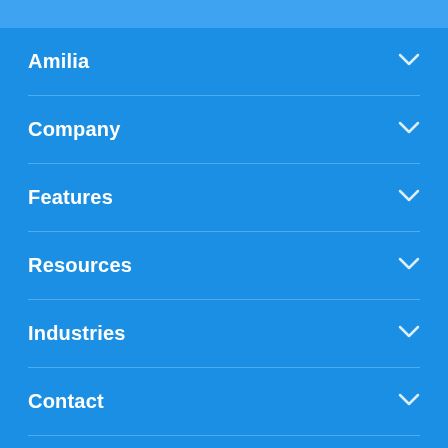Amilia
Company
Features
Resources
Industries
Contact
Legal